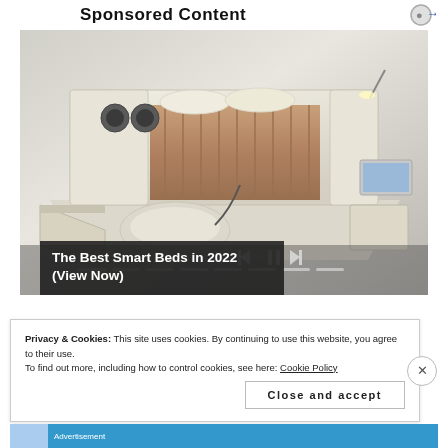Sponsored Content
[Figure (photo): A luxurious smart bed with multiple built-in features including speakers, storage drawers, massage chairs, and LED lighting, shown from an aerial perspective. Video player controls and progress dots overlay the bottom of the image.]
The Best Smart Beds in 2022 (View Now)
Privacy & Cookies: This site uses cookies. By continuing to use this website, you agree to their use.
To find out more, including how to control cookies, see here: Cookie Policy
Close and accept